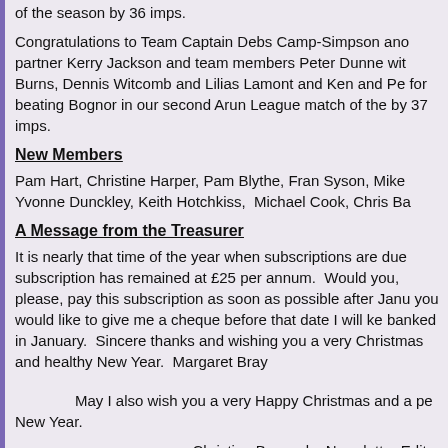of the season by 36 imps.
Congratulations to Team Captain Debs Camp-Simpson and partner Kerry Jackson and team members Peter Dunne with Burns, Dennis Witcomb and Lilias Lamont and Ken and Pe for beating Bognor in our second Arun League match of the by 37 imps.
New Members
Pam Hart, Christine Harper, Pam Blythe, Fran Syson, Mike Yvonne Dunckley, Keith Hotchkiss, Michael Cook, Chris Ba
A Message from the Treasurer
It is nearly that time of the year when subscriptions are due subscription has remained at £25 per annum. Would you, please, pay this subscription as soon as possible after Janu you would like to give me a cheque before that date I will ke banked in January. Sincere thanks and wishing you a very Christmas and healthy New Year. Margaret Bray
May I also wish you a very Happy Christmas and a pe New Year.
Christine Burnard – Newsletter Editor